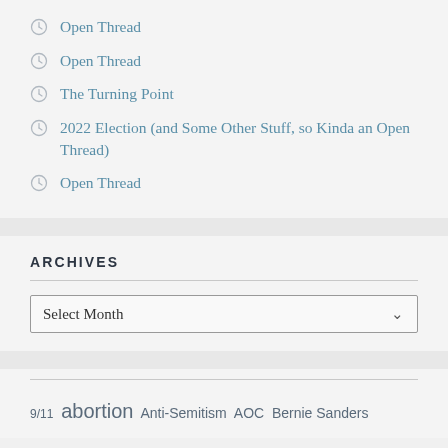Open Thread
Open Thread
The Turning Point
2022 Election (and Some Other Stuff, so Kinda an Open Thread)
Open Thread
ARCHIVES
Select Month
9/11 abortion Anti-Semitism AOC Bernie Sanders